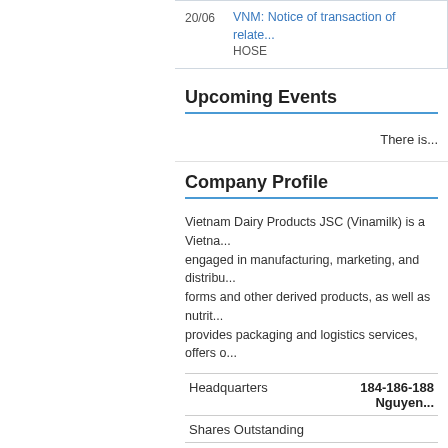| Date | News |
| --- | --- |
| 20/06 | VNM: Notice of transaction of relate...
HOSE |
Upcoming Events
There is...
Company Profile
Vietnam Dairy Products JSC (Vinamilk) is a Vietna... engaged in manufacturing, marketing, and distribu... forms and other derived products, as well as nutrit... provides packaging and logistics services, offers o...
| Field | Value |
| --- | --- |
| Headquarters | 184-186-188 Nguyen... |
| Shares Outstanding |  |
| Assets |  |
| Equity |  |
| Market Cap |  |
| Employees |  |
| Branches |  |
| Industry |  |